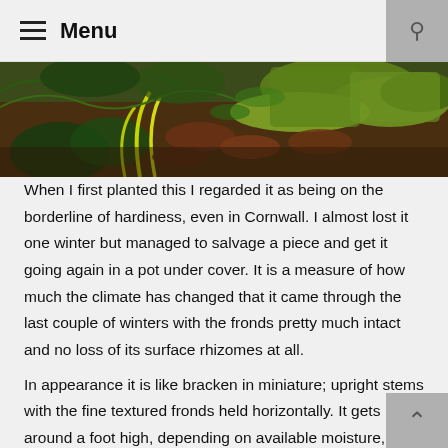≡ Menu
[Figure (photo): Close-up photograph of ferns, moss, and plant fronds on forest floor with green and brown foliage]
When I first planted this I regarded it as being on the borderline of hardiness, even in Cornwall. I almost lost it one winter but managed to salvage a piece and get it going again in a pot under cover. It is a measure of how much the climate has changed that it came through the last couple of winters with the fronds pretty much intact and no loss of its surface rhizomes at all.
In appearance it is like bracken in miniature; upright stems with the fine textured fronds held horizontally. It gets around a foot high, depending on available moisture, and spreads by means of thin wiry rhizomes that go out in all directions on the surface of the soil. These are easily capable of a couple of feet